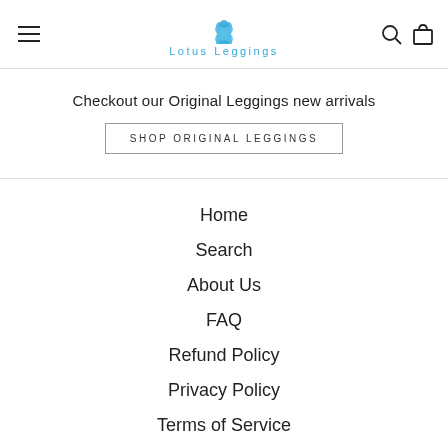Lotus Leggings
Checkout our Original Leggings new arrivals
SHOP ORIGINAL LEGGINGS
Home
Search
About Us
FAQ
Refund Policy
Privacy Policy
Terms of Service